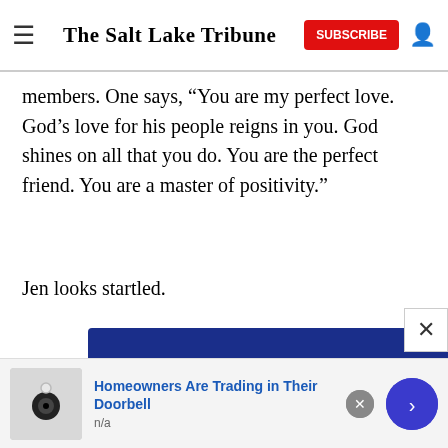The Salt Lake Tribune
members. One says, “You are my perfect love. God’s love for his people reigns in you. God shines on all that you do. You are the perfect friend. You are a master of positivity.”
Jen looks startled.
[Figure (other): Advertisement banner for 2.50% APY†† 15-Month Certificate on blue background]
[Figure (other): Advertisement for Homeowners Are Trading in Their Doorbell with security camera image, n/a subtext, dismiss and forward buttons]